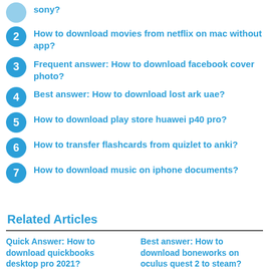sony?
2 How to download movies from netflix on mac without app?
3 Frequent answer: How to download facebook cover photo?
4 Best answer: How to download lost ark uae?
5 How to download play store huawei p40 pro?
6 How to transfer flashcards from quizlet to anki?
7 How to download music on iphone documents?
Related Articles
Quick Answer: How to download quickbooks desktop pro 2021?
Best answer: How to download boneworks on oculus quest 2 to steam?